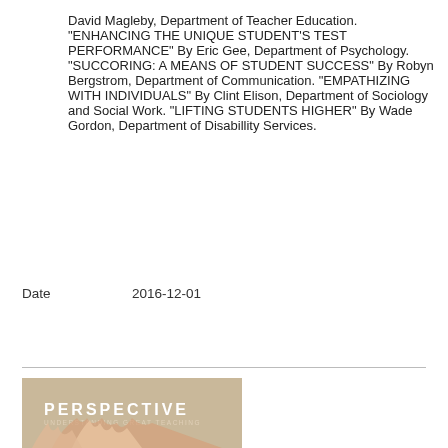David Magleby, Department of Teacher Education. "ENHANCING THE UNIQUE STUDENT'S TEST PERFORMANCE" By Eric Gee, Department of Psychology. "SUCCORING: A MEANS OF STUDENT SUCCESS" By Robyn Bergstrom, Department of Communication. "EMPATHIZING WITH INDIVIDUALS" By Clint Elison, Department of Sociology and Social Work. "LIFTING STUDENTS HIGHER" By Wade Gordon, Department of Disabillity Services.
Date   2016-12-01
[Figure (illustration): Book cover showing 'PERSPECTIVE UNDERSTANDING GREAT TEACHING' with raised hands visible at the bottom, warm tan/beige background color.]